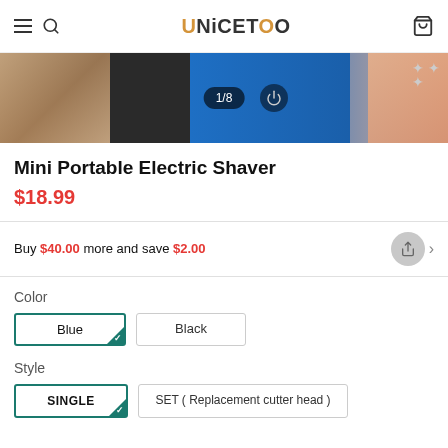UNICETOO
[Figure (photo): Product photo of Mini Portable Electric Shaver showing blue electric shaver with counter 1/8]
Mini Portable Electric Shaver
$18.99
Buy $40.00 more and save $2.00
Color
Blue
Black
Style
SINGLE
SET ( Replacement cutter head )